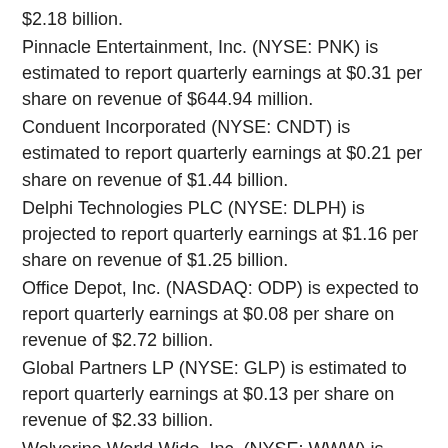$2.18 billion.
Pinnacle Entertainment, Inc. (NYSE: PNK) is estimated to report quarterly earnings at $0.31 per share on revenue of $644.94 million.
Conduent Incorporated (NYSE: CNDT) is estimated to report quarterly earnings at $0.21 per share on revenue of $1.44 billion.
Delphi Technologies PLC (NYSE: DLPH) is projected to report quarterly earnings at $1.16 per share on revenue of $1.25 billion.
Office Depot, Inc. (NASDAQ: ODP) is expected to report quarterly earnings at $0.08 per share on revenue of $2.72 billion.
Global Partners LP (NYSE: GLP) is estimated to report quarterly earnings at $0.13 per share on revenue of $2.33 billion.
Wolverine World Wide, Inc. (NYSE: WWW) is projected to report quarterly earnings at $0.37 per share on revenue of $529.99 million.